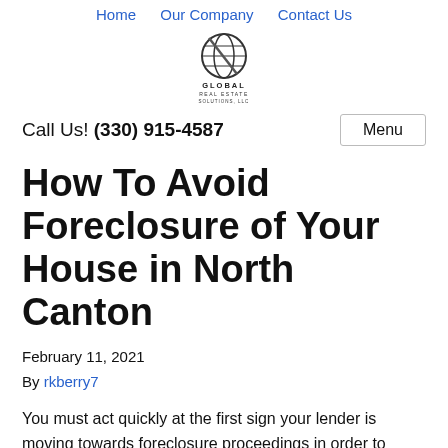Home   Our Company   Contact Us
[Figure (logo): Global Real Estate Solutions, LLC globe logo with company name beneath]
Call Us! (330) 915-4587
How To Avoid Foreclosure of Your House in North Canton
February 11, 2021
By rkberry7
You must act quickly at the first sign your lender is moving towards foreclosure proceedings in order to